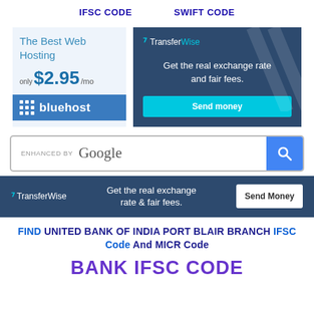IFSC CODE   SWIFT CODE
[Figure (infographic): Bluehost advertisement: 'The Best Web Hosting only $2.95/mo bluehost']
[Figure (infographic): TransferWise advertisement square: 'Get the real exchange rate and fair fees. Send money']
[Figure (screenshot): Google search bar enhanced by Google with search button]
[Figure (infographic): TransferWise banner advertisement: 'Get the real exchange rate & fair fees. Send Money']
FIND UNITED BANK OF INDIA PORT BLAIR BRANCH IFSC Code And MICR Code
BANK IFSC CODE